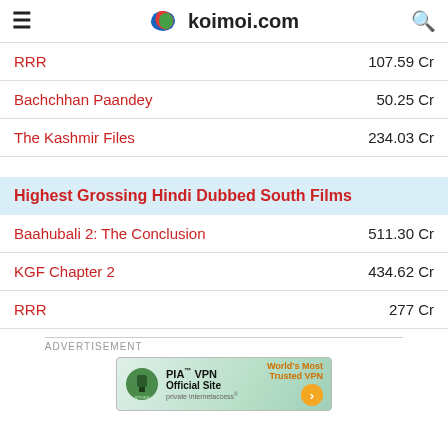koimoi.com
RRR | 107.59 Cr
Bachchhan Paandey | 50.25 Cr
The Kashmir Files | 234.03 Cr
Highest Grossing Hindi Dubbed South Films
Baahubali 2: The Conclusion | 511.30 Cr
KGF Chapter 2 | 434.62 Cr
RRR | 277 Cr
[Figure (screenshot): PIA VPN advertisement banner reading 'PIA™ VPN Official Site' with 'World's Most Trusted VPN' tagline]